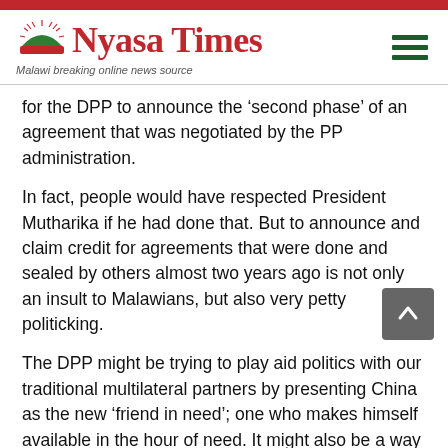Nyasa Times — Malawi breaking online news source
for the DPP to announce the ‘second phase’ of an agreement that was negotiated by the PP administration.
In fact, people would have respected President Mutharika if he had done that. But to announce and claim credit for agreements that were done and sealed by others almost two years ago is not only an insult to Malawians, but also very petty politicking.
The DPP might be trying to play aid politics with our traditional multilateral partners by presenting China as the new ‘friend in need’; one who makes himself available in the hour of need. It might also be a way of telling IMF to go to hell with their money of “strings attached”. Capital Hill must perform a delicate balancing act here. Our traditional partners in the West have been with us for a long time, and